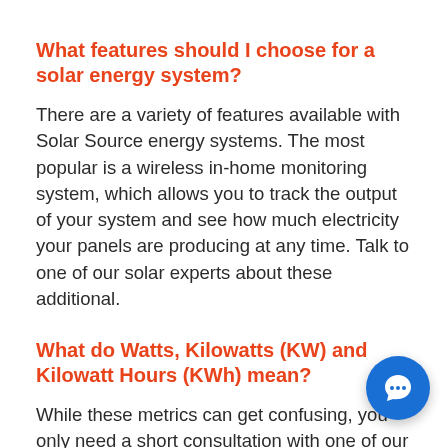What features should I choose for a solar energy system?
There are a variety of features available with Solar Source energy systems. The most popular is a wireless in-home monitoring system, which allows you to track the output of your system and see how much electricity your panels are producing at any time. Talk to one of our solar experts about these additional.
What do Watts, Kilowatts (KW) and Kilowatt Hours (KWh) mean?
While these metrics can get confusing, you only need a short consultation with one of our knowledgeable energy specialists before you become an energy expert!